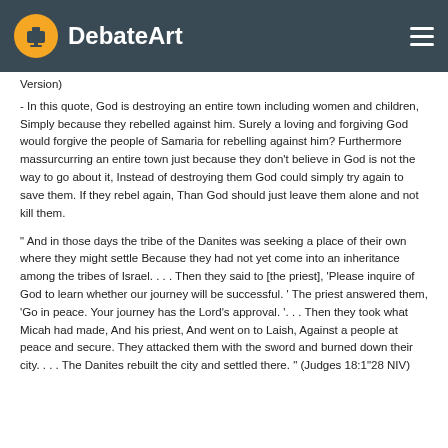DebateArt
Version)
- In this quote, God is destroying an entire town including women and children, Simply because they rebelled against him. Surely a loving and forgiving God would forgive the people of Samaria for rebelling against him? Furthermore massurcurring an entire town just because they don't believe in God is not the way to go about it, Instead of destroying them God could simply try again to save them. If they rebel again, Than God should just leave them alone and not kill them.
" And in those days the tribe of the Danites was seeking a place of their own where they might settle Because they had not yet come into an inheritance among the tribes of Israel. . . . Then they said to [the priest], 'Please inquire of God to learn whether our journey will be successful. ' The priest answered them, 'Go in peace. Your journey has the Lord's approval. '. . . Then they took what Micah had made, And his priest, And went on to Laish, Against a people at peace and secure. They attacked them with the sword and burned down their city. . . . The Danites rebuilt the city and settled there. " (Judges 18:1"28 NIV)